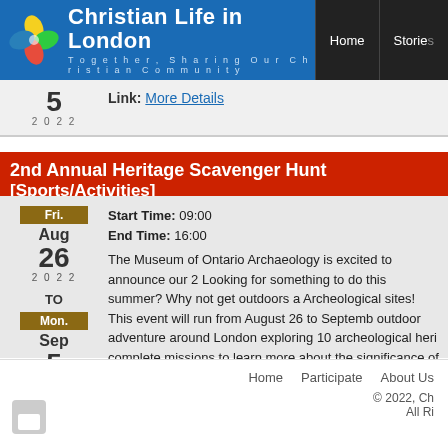Christian Life in London — Together, Sharing Our Christian Community | Home | Stories
Link: More Details
2nd Annual Heritage Scavenger Hunt [Sports/Activities]
Start Time: 09:00
End Time: 16:00
The Museum of Ontario Archaeology is excited to announce our 2... Looking for something to do this summer? Why not get outdoors a... Archeological sites! This event will run from August 26 to Septemb... outdoor adventure around London exploring 10 archeological heri... complete missions to learn more about the significance of the site... a $5.00 participation fee, for participants 12 and up. Free for partic...

Location: The Museum of Ontario Archaeology
Link: More Details
Home   Participate   About Us
© 2022, Ch... All Ri...